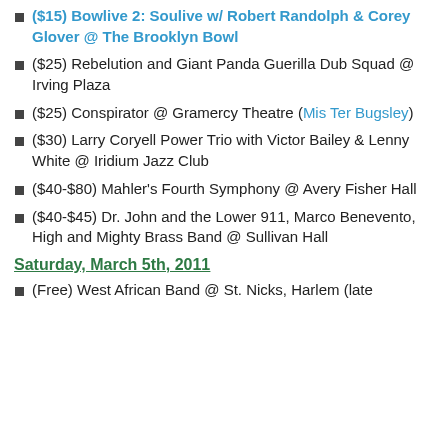($15) Bowlive 2: Soulive w/ Robert Randolph & Corey Glover @ The Brooklyn Bowl
($25) Rebelution and Giant Panda Guerilla Dub Squad @ Irving Plaza
($25) Conspirator @ Gramercy Theatre (Mis Ter Bugsley)
($30) Larry Coryell Power Trio with Victor Bailey & Lenny White @ Iridium Jazz Club
($40-$80) Mahler's Fourth Symphony @ Avery Fisher Hall
($40-$45) Dr. John and the Lower 911, Marco Benevento, High and Mighty Brass Band @ Sullivan Hall
Saturday, March 5th, 2011
(Free) West African Band @ St. Nicks, Harlem (late